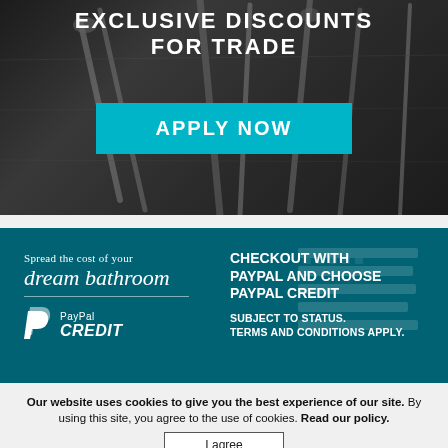[Figure (photo): Dark background with tools (wrenches, pliers) on a wooden surface. White bold text reads 'EXCLUSIVE DISCOUNTS FOR TRADE' with a teal 'APPLY NOW' button.]
[Figure (infographic): Teal/dark teal banner promoting PayPal Credit. Left side: 'Spread the cost of your dream bathroom' with PayPal Credit logo. Right side: 'CHECKOUT WITH PAYPAL AND CHOOSE PAYPAL CREDIT' and 'SUBJECT TO STATUS. TERMS AND CONDITIONS APPLY.' with keyboard background.]
Our website uses cookies to give you the best experience of our site. By using this site, you agree to the use of cookies. Read our policy.
I agree